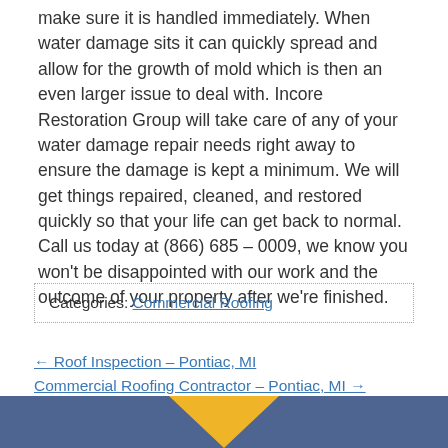make sure it is handled immediately. When water damage sits it can quickly spread and allow for the growth of mold which is then an even larger issue to deal with. Incore Restoration Group will take care of any of your water damage repair needs right away to ensure the damage is kept a minimum. We will get things repaired, cleaned, and restored quickly so that your life can get back to normal. Call us today at (866) 685 – 0009, we know you won't be disappointed with our work and the outcome of your property after we're finished.
Categories: Commercial Roofing
← Roof Inspection – Pontiac, MI
Commercial Roofing Contractor – Pontiac, MI →
[Figure (other): Blue banner footer with a gold/orange downward-pointing triangle chevron in the center]